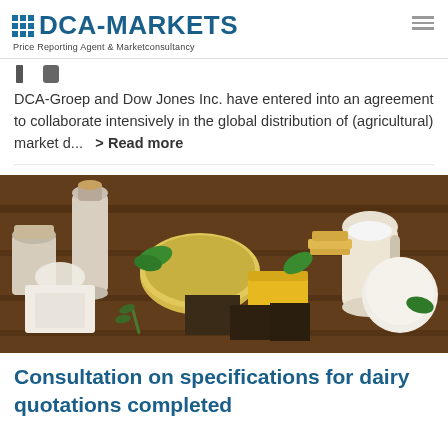DCA-MARKETS — Price Reporting Agent & Marketconsultancy
DCA-Groep and Dow Jones Inc. have entered into an agreement to collaborate intensively in the global distribution of (agricultural) market d... > Read more
[Figure (photo): Assortment of dairy products including milk bottles, cheeses, and cream on a wooden surface]
Consultation on specifications for dairy quotations completed